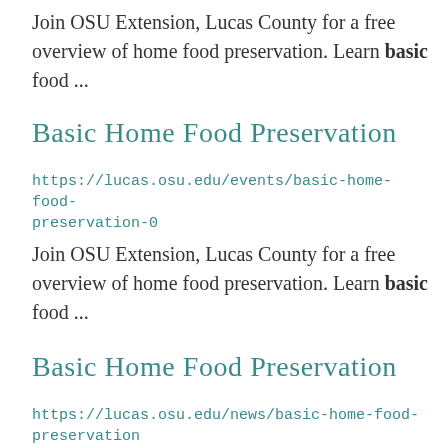Join OSU Extension, Lucas County for a free overview of home food preservation. Learn basic food ...
Basic Home Food Preservation
https://lucas.osu.edu/events/basic-home-food-preservation-0
Join OSU Extension, Lucas County for a free overview of home food preservation. Learn basic food ...
Basic Home Food Preservation
https://lucas.osu.edu/news/basic-home-food-preservation
Join OSU Extension, Lucas County for a free overview of home food preservation.